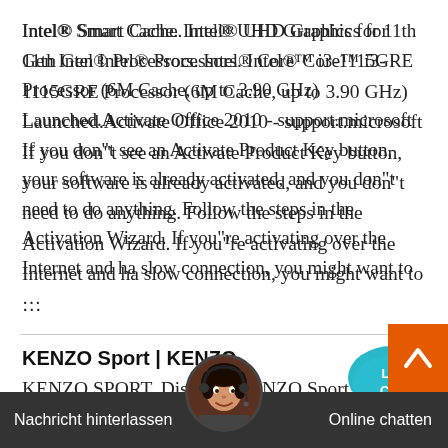Intel® Smart Cache. Intel® UHD Graphics for 11th Gen Intel® Processors. Intel® Core™ i3-1115GRE Processor (6M Cache, up to 3.90 GHz) Launched.Activate Office 2010 - support.microsoft If you don"t see an Activate Product Key button, your software is already activated, and you don"t need to do anything. Follow the steps in the Activation Wizard. If you"re activating over the Internet and ha slow connection, you might want to …
[Figure (illustration): Live Chat speech bubble icon in teal/blue]
KENZO Sport | KENZO
KENZO SPORT. Discover KENZO Sport, the collection that combines style & comfort: shoulder bags, hooded sweatshirts, down jackets or shorts. As an affirmed fas brand focusing on function ex clothing, KENZO ode with technical mater nsure omfort of arer in all situations Home | THR GroupTHR - the specialist
[Figure (illustration): Orange back-to-top chevron button]
[Figure (photo): Chat support agent avatar photo]
Nachricht hinterlassen   Online chatten